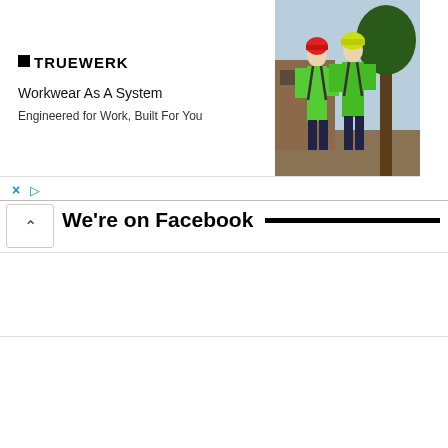[Figure (screenshot): Advertisement banner for TRUEWERK workwear brand. Shows the TRUEWERK logo on left, headline text 'Workwear As A System' and subtext 'Engineered for Work, Built For You', with a photo of two people in green workwear on the right side.]
Workwear As A System
Engineered for Work, Built For You
× ▷
We're on Facebook